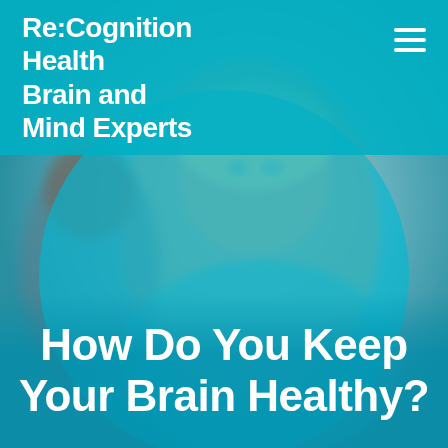[Figure (photo): A blurred background photo of a middle-aged blonde woman with blue eyes and another person partially visible in the background, overlaid with teal/cyan circular graphic elements]
Re:Cognition Health Brain and Mind Experts
How Do You Keep Your Brain Healthy?